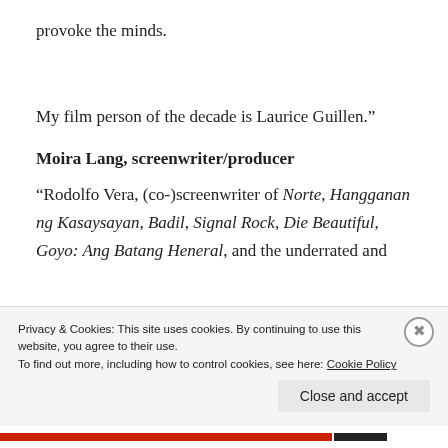provoke the minds.
My film person of the decade is Laurice Guillen.”
Moira Lang, screenwriter/producer
“Rodolfo Vera, (co-)screenwriter of Norte, Hangganan ng Kasaysayan, Badil, Signal Rock, Die Beautiful, Goyo: Ang Batang Heneral, and the underrated and
Privacy & Cookies: This site uses cookies. By continuing to use this website, you agree to their use.
To find out more, including how to control cookies, see here: Cookie Policy